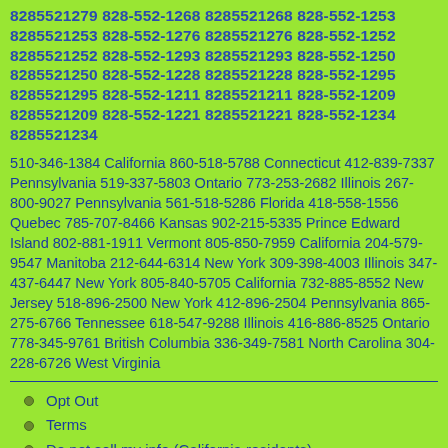8285521279 828-552-1268 8285521268 828-552-1253 8285521253 828-552-1276 8285521276 828-552-1252 8285521252 828-552-1293 8285521293 828-552-1250 8285521250 828-552-1228 8285521228 828-552-1295 8285521295 828-552-1211 8285521211 828-552-1209 8285521209 828-552-1221 8285521221 828-552-1234 8285521234
510-346-1384 California 860-518-5788 Connecticut 412-839-7337 Pennsylvania 519-337-5803 Ontario 773-253-2682 Illinois 267-800-9027 Pennsylvania 561-518-5286 Florida 418-558-1556 Quebec 785-707-8466 Kansas 902-215-5335 Prince Edward Island 802-881-1911 Vermont 805-850-7959 California 204-579-9547 Manitoba 212-644-6314 New York 309-398-4003 Illinois 347-437-6447 New York 805-840-5705 California 732-885-8552 New Jersey 518-896-2500 New York 412-896-2504 Pennsylvania 865-275-6766 Tennessee 618-547-9288 Illinois 416-886-8525 Ontario 778-345-9761 British Columbia 336-349-7581 North Carolina 304-228-6726 West Virginia
Opt Out
Terms
Do not sell my info (California residents)
Your Privacy and Us